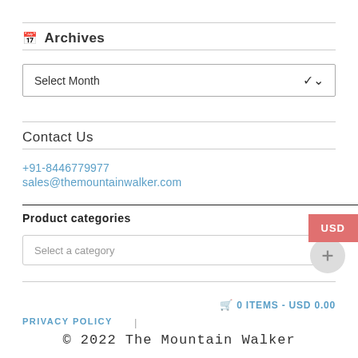Archives
Select Month
Contact Us
+91-8446779977
sales@themountainwalker.com
Product categories
Select a category
USD
🛒 0 ITEMS - USD 0.00
PRIVACY POLICY
© 2022 The Mountain Walker